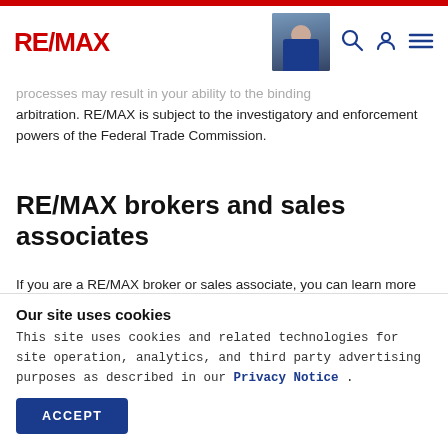RE/MAX [navigation header with logo, agent photo, search, account, and menu icons]
processes may result in your ability to the binding arbitration. RE/MAX is subject to the investigatory and enforcement powers of the Federal Trade Commission.
RE/MAX brokers and sales associates
If you are a RE/MAX broker or sales associate, you can learn more about what personal information we collect from you, how we use it, and how you can contact us
Our site uses cookies
This site uses cookies and related technologies for site operation, analytics, and third party advertising purposes as described in our Privacy Notice .
ACCEPT